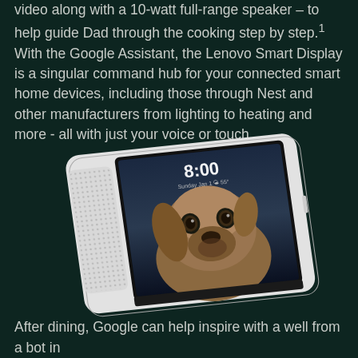video along with a 10-watt full-range speaker – to help guide Dad through the cooking step by step.1 With the Google Assistant, the Lenovo Smart Display is a singular command hub for your connected smart home devices, including those through Nest and other manufacturers from lighting to heating and more - all with just your voice or touch.
[Figure (photo): Lenovo Smart Display device shown at an angle, with white body, speaker grille on the left side, and a touchscreen displaying 8:00 time and a dog photo as wallpaper]
After dining, Google can help inspire with a well from a bot in